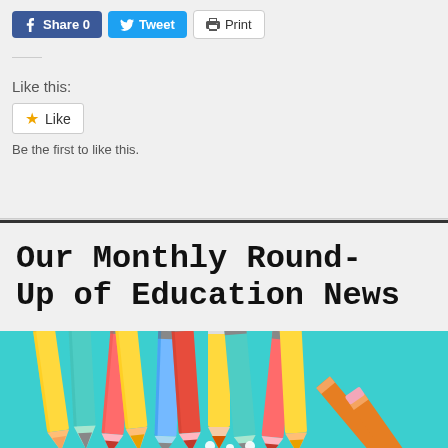[Figure (screenshot): Social sharing buttons: Facebook Share 0, Twitter Tweet, Print]
Like this:
[Figure (other): Like button with star icon]
Be the first to like this.
Our Monthly Round-Up of Education News
[Figure (illustration): Colorful pencils illustration on teal background]